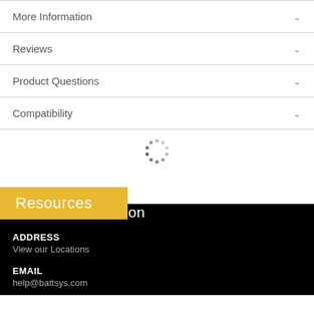More Information
Reviews
Product Questions
Compatibility
[Figure (other): Loading spinner animation — circular arrangement of dots]
Resources
Contact Information
ADDRESS
View our Locations
EMAIL
help@battsys.com